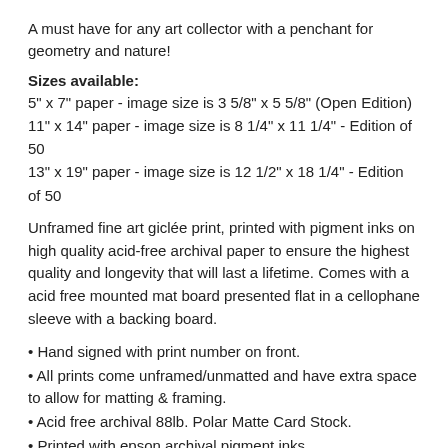A must have for any art collector with a penchant for geometry and nature!
Sizes available:
5" x 7" paper - image size is 3 5/8" x 5 5/8" (Open Edition)
11" x 14" paper - image size is 8 1/4" x 11 1/4" - Edition of 50
13" x 19" paper - image size is 12 1/2" x 18 1/4" - Edition of 50
Unframed fine art giclée print, printed with pigment inks on high quality acid-free archival paper to ensure the highest quality and longevity that will last a lifetime. Comes with a acid free mounted mat board presented flat in a cellophane sleeve with a backing board.
Hand signed with print number on front.
All prints come unframed/unmatted and have extra space to allow for matting & framing.
Acid free archival 88lb. Polar Matte Card Stock.
Printed with epson archival pigment inks.
Paper prints need to framed behind glass to protect against UV damage, moisture and dust.